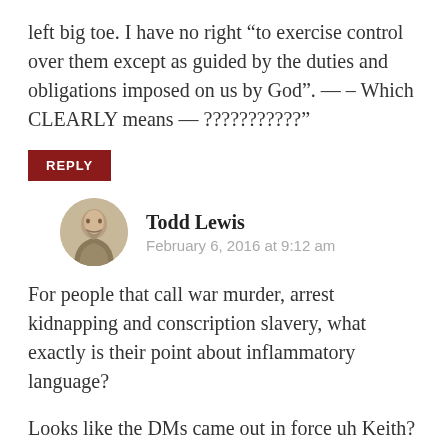left big toe. I have no right “to exercise control over them except as guided by the duties and obligations imposed on us by God”. — – Which CLEARLY means — ???????????”
REPLY
Todd Lewis
February 6, 2016 at 9:12 am
For people that call war murder, arrest kidnapping and conscription slavery, what exactly is their point about inflammatory language?
Looks like the DMs came out in force uh Keith?
REPLY